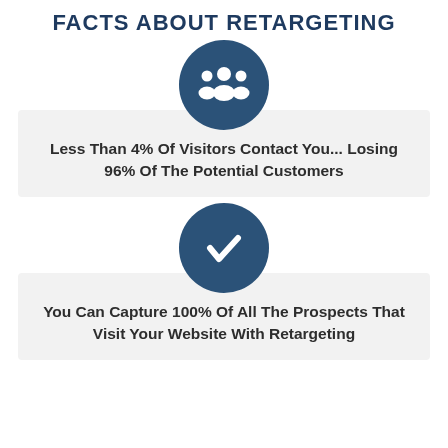FACTS ABOUT RETARGETING
[Figure (illustration): Dark blue circle icon with white group of people (users/contacts) silhouette]
Less Than 4% Of Visitors Contact You... Losing 96% Of The Potential Customers
[Figure (illustration): Dark blue circle icon with white checkmark silhouette]
You Can Capture 100% Of All The Prospects That Visit Your Website With Retargeting